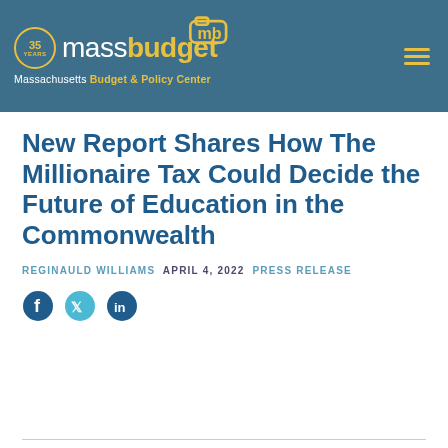massbudget — Massachusetts Budget & Policy Center — 35 Years
New Report Shares How The Millionaire Tax Could Decide the Future of Education in the Commonwealth
REGINAULD WILLIAMS  APRIL 4, 2022  PRESS RELEASE
[Figure (other): Social media share icons: Facebook, Twitter, LinkedIn]